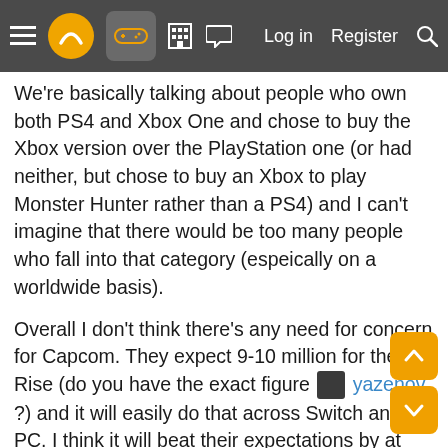Navigation bar with menu, logo, gamepad icon, building icon, chat icon, Log in, Register, Search
We're basically talking about people who own both PS4 and Xbox One and chose to buy the Xbox version over the PlayStation one (or had neither, but chose to buy an Xbox to play Monster Hunter rather than a PS4) and I can't imagine that there would be too many people who fall into that category (espeically on a worldwide basis).
Overall I don't think there's any need for concern for Capcom. They expect 9-10 million for the Rise (do you have the exact figure [avatar] yazenov ?) and it will easily do that across Switch and PC. I think it will beat their expectations by at least 1 million. Then they'll have Rise G out to make even more money and after that World 2 (plus I would imagine Rise 2 for the next gen Switch in 2027 or something).
Following a multiplatform strategy in investing in PlayStation, Xbox, Switch and PC is going to pay off really well for Capcom and I think a lot of other companies can learn from it.